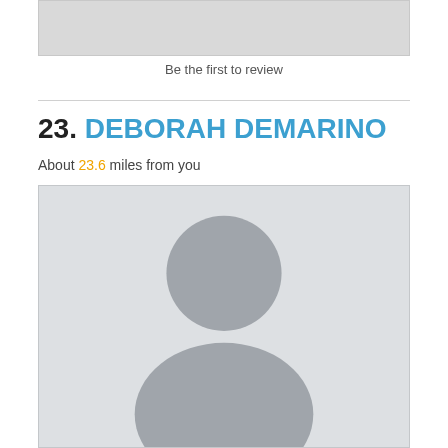[Figure (photo): Placeholder image box at top (light gray background, no content)]
Be the first to review
[Figure (photo): Default user profile placeholder image: light gray background with a gray silhouette of a person (circle for head, rounded body shape)]
23. DEBORAH DEMARINO
About 23.6 miles from you